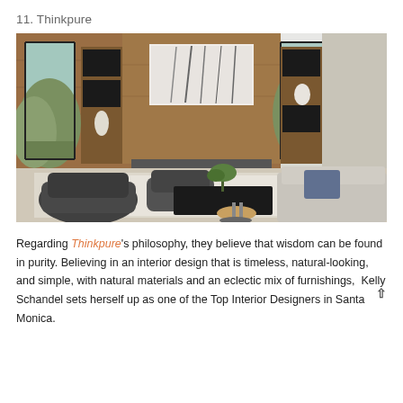11. Thinkpure
[Figure (photo): Modern living room interior with wood-paneled fireplace wall, built-in shelving, abstract artwork above fireplace, dark swivel chairs, light gray sectional sofa, black coffee table, and floor-to-ceiling windows with hillside view.]
Regarding Thinkpure's philosophy, they believe that wisdom can be found in purity. Believing in an interior design that is timeless, natural-looking, and simple, with natural materials and an eclectic mix of furnishings, Kelly Schandel sets herself up as one of the Top Interior Designers in Santa Monica.